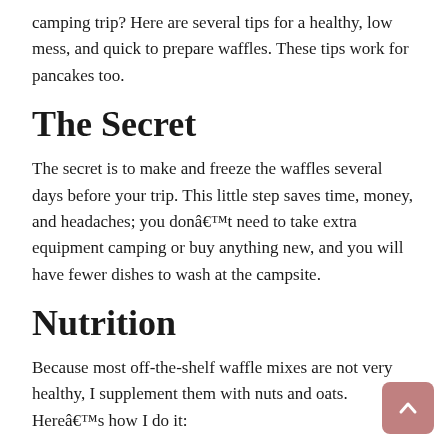camping trip? Here are several tips for a healthy, low mess, and quick to prepare waffles. These tips work for pancakes too.
The Secret
The secret is to make and freeze the waffles several days before your trip. This little step saves time, money, and headaches; you donât need to take extra equipment camping or buy anything new, and you will have fewer dishes to wash at the campsite.
Nutrition
Because most off-the-shelf waffle mixes are not very healthy, I supplement them with nuts and oats. Hereâs how I do it:
Use the directions on the package of waffle mix as you normally would, but instead of a full amount of mix just use